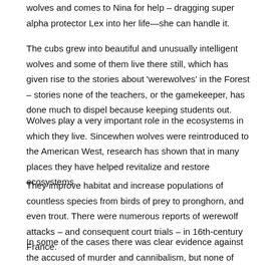wolves and comes to Nina for help – dragging super alpha protector Lex into her life—she can handle it.
The cubs grew into beautiful and unusually intelligent wolves and some of them live there still, which has given rise to the stories about 'werewolves' in the Forest – stories none of the teachers, or the gamekeeper, has done much to dispel because keeping students out.
Wolves play a very important role in the ecosystems in which they live. Sincewhen wolves were reintroduced to the American West, research has shown that in many places they have helped revitalize and restore ecosystems.
They improve habitat and increase populations of countless species from birds of prey to pronghorn, and even trout. There were numerous reports of werewolf attacks – and consequent court trials – in 16th-century France.
In some of the cases there was clear evidence against the accused of murder and cannibalism, but none of association with wolves; in other cases people have been terrified by such creatures, such as that of